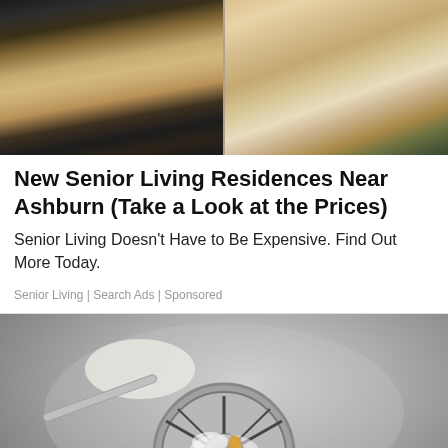[Figure (photo): Photo of a modern kitchen interior with wooden cabinets and a stove, split into two panels]
New Senior Living Residences Near Ashburn (Take a Look at the Prices)
Senior Living Doesn't Have to Be Expensive. Find Out More Today.
Senior Living | Search Ads | Sponsored
[Figure (photo): Photo of a spoon pouring baking soda or white powder into a stainless steel sink drain with fizzing reaction]